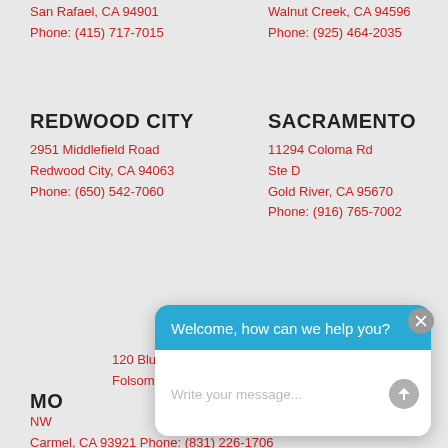San Rafael, CA 94901
Phone: (415) 717-7015
Walnut Creek, CA 94596
Phone: (925) 464-2035
REDWOOD CITY
2951 Middlefield Road
Redwood City, CA 94063
Phone: (650) 542-7060
SACRAMENTO
11294 Coloma Rd
Ste D
Gold River, CA 95670
Phone: (916) 765-7002
FOLSOM
120 Blue Ravine Rd, Suite 5
Folsom, CA 95630
MO
NW
Carmel, CA 93921 Phone: (831) 226-1706
[Figure (screenshot): Chat widget overlay with blue header reading 'Welcome, how can we help you?' and white body with 'Write your message...' placeholder and send button]